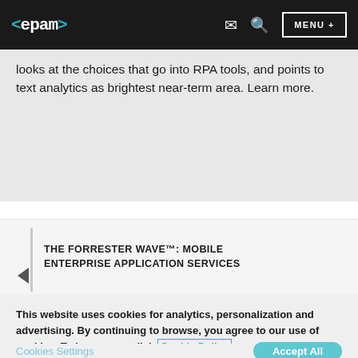<epam> [mail icon] [search icon] MENU +
looks at the choices that go into RPA tools, and points to text analytics as brightest near-term area. Learn more.
THE FORRESTER WAVE™: MOBILE ENTERPRISE APPLICATION SERVICES
This website uses cookies for analytics, personalization and advertising. By continuing to browse, you agree to our use of cookies. To learn more click Cookie Policy
Cookies Settings   Accept All